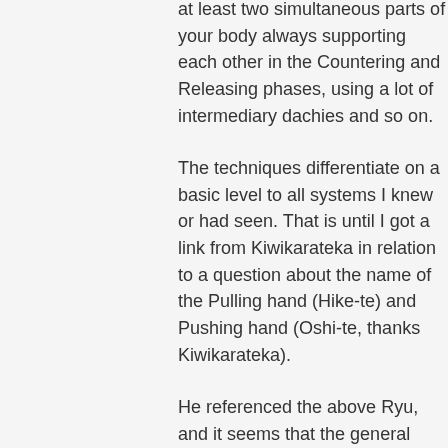at least two simultaneous parts of your body always supporting each other in the Countering and Releasing phases, using a lot of intermediary dachies and so on.
The techniques differentiate on a basic level to all systems I knew or had seen. That is until I got a link from Kiwikarateka in relation to a question about the name of the Pulling hand (Hike-te) and Pushing hand (Oshi-te, thanks Kiwikarateka).
He referenced the above Ryu, and it seems that the general descriptions of the Tuiti part of this Ryu is actually spot on to the techniques I am working on, and suggest answers to a lot of the Why, How, When, Where, Why not questions I had as well.
So I am looking for further knowledge about the technical aspects of these Tuiti techniques (Not just the versions with grips high in the air, but also grips at waist level, which is not shown in the videos) if at all possible, and hopefully a further detailing of the historical events describing the history of this Ruy,